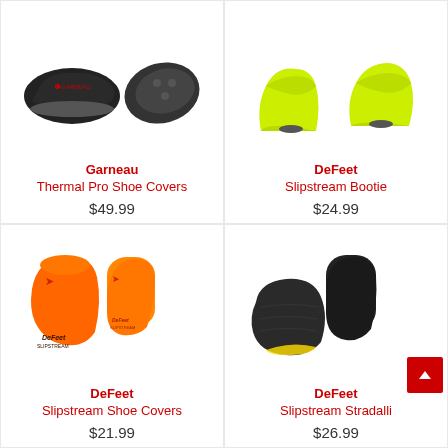[Figure (photo): Garneau Thermal Pro Shoe Covers - black cycling shoe covers shown from two angles (side and sole view)]
Garneau
Thermal Pro Shoe Covers
$49.99
[Figure (photo): DeFeet Slipstream Bootie - neon yellow-green cycling shoe booties shown from two angles]
DeFeet
Slipstream Bootie
$24.99
[Figure (photo): DeFeet Slipstream Shoe Covers - bright orange cycling shoe covers with DeFeet Slipstream branding]
DeFeet
Slipstream Shoe Covers
$21.99
[Figure (photo): DeFeet Slipstream Stradalli - black cycling shoe covers shown on shoes from an angle]
DeFeet
Slipstream Stradalli
$26.99